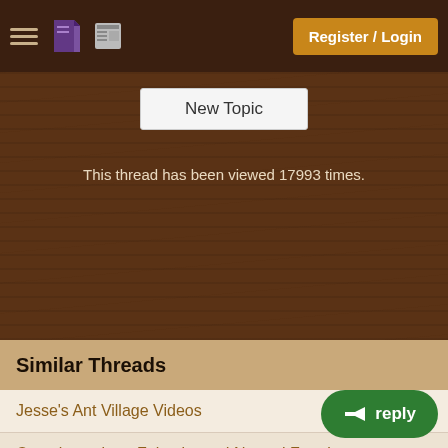Register / Login
New Topic
This thread has been viewed 17993 times.
Similar Threads
Jesse's Ant Village Videos
Questions about Fukuoka and Natural Farming
Wanting to start a farm using Fukuoka's farming techniques....
Permaculture Book Suggestions
The Road Back to Nature by Masanobu Fukuoka
Earth Friendly Heat - Full Event - 16 hours d
The Garden Master Course - Full Video - Kickstarter